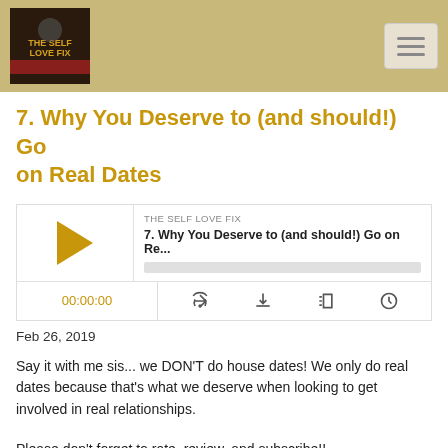[Figure (screenshot): Podcast header bar with logo image and hamburger menu button on tan/gold background]
7. Why You Deserve to (and should!) Go on Real Dates
[Figure (screenshot): Podcast audio player widget showing THE SELF LOVE FIX podcast, episode '7. Why You Deserve to (and should!) Go on Re...', with play button, progress bar, time display 00:00:00, and control icons for RSS, download, embed, and share]
Feb 26, 2019
Say it with me sis... we DON'T do house dates! We only do real dates because that's what we deserve when looking to get involved in real relationships.
Please don't forget to rate, review, and subscribe!!
Business Inquiries?